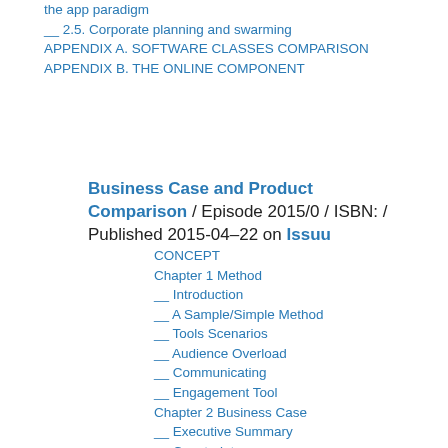the app paradigm
__ 2.5. Corporate planning and swarming
APPENDIX A. SOFTWARE CLASSES COMPARISON
APPENDIX B. THE ONLINE COMPONENT
Business Case and Product Comparison / Episode 2015/0 / ISBN: / Published 2015-04-22 on Issuu
CONCEPT
Chapter 1 Method
__ Introduction
__ A Sample/Simple Method
__ Tools Scenarios
__ Audience Overload
__ Communicating
__ Engagement Tool
Chapter 2 Business Case
__ Executive Summary
__ Constraints
__ PRJ1: Identify Feasibility
Appendix: Tools